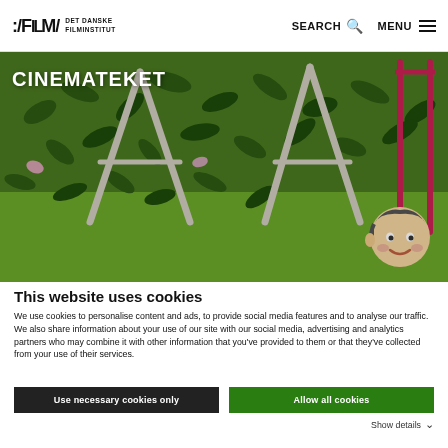:/FILM/ DET DANSKE FILMINSTITUT   SEARCH   MENU
[Figure (illustration): Animated illustration showing a playground scene with a green leafy background, white A-frame climbing structures, pink/red vertical rods, and a cartoon child character peeking from the lower right corner. Overlaid white bold text reads CINEMATEKET.]
This website uses cookies
We use cookies to personalise content and ads, to provide social media features and to analyse our traffic. We also share information about your use of our site with our social media, advertising and analytics partners who may combine it with other information that you've provided to them or that they've collected from your use of their services.
Use necessary cookies only
Allow all cookies
Show details